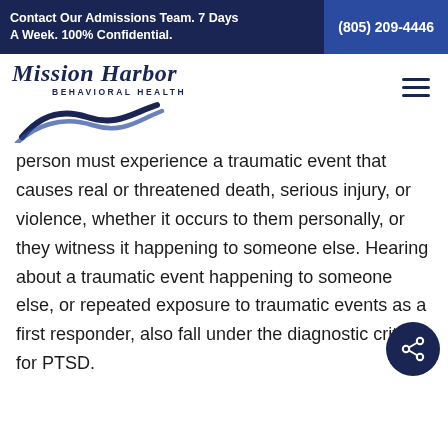Contact Our Admissions Team. 7 Days A Week. 100% Confidential. (805) 209-4446
[Figure (logo): Mission Harbor Behavioral Health logo with wave graphic]
person must experience a traumatic event that causes real or threatened death, serious injury, or violence, whether it occurs to them personally, or they witness it happening to someone else. Hearing about a traumatic event happening to someone else, or repeated exposure to traumatic events as a first responder, also fall under the diagnostic criteria for PTSD.